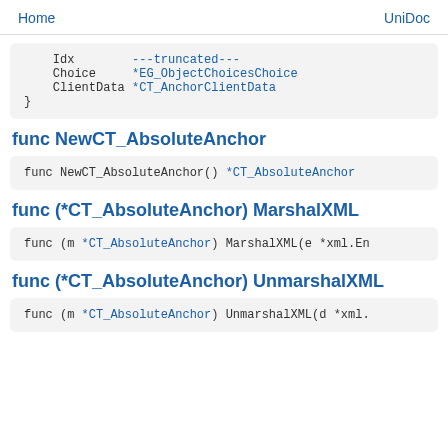Home    UniDoc
Idx
    Choice     *EG_ObjectChoicesChoice
    ClientData *CT_AnchorClientData
}
func NewCT_AbsoluteAnchor
func NewCT_AbsoluteAnchor() *CT_AbsoluteAnchor
func (*CT_AbsoluteAnchor) MarshalXML
func (m *CT_AbsoluteAnchor) MarshalXML(e *xml.En
func (*CT_AbsoluteAnchor) UnmarshalXML
func (m *CT_AbsoluteAnchor) UnmarshalXML(d *xml.